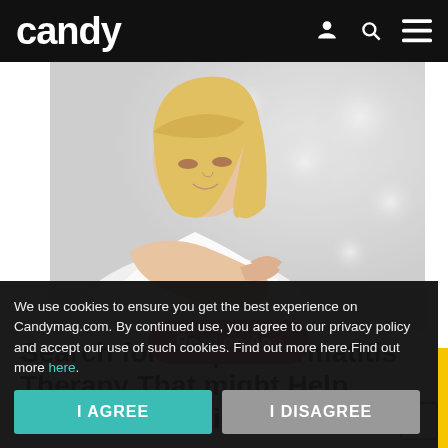candy
[Figure (photo): Blonde woman in white t-shirt scratching her arm/elbow, suggesting eczema or skin irritation, light bokeh background]
Search for Atopic Dermatitis Therapy That might Help eczema condition
We use cookies to ensure you get the best experience on Candymag.com. By continued use, you agree to our privacy policy and accept our use of such cookies. Find out more here.Find out more here.
I AGREE
I DISAGREE